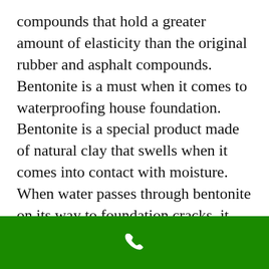compounds that hold a greater amount of elasticity than the original rubber and asphalt compounds. Bentonite is a must when it comes to waterproofing house foundation. Bentonite is a special product made of natural clay that swells when it comes into contact with moisture. When water passes through bentonite on its way to foundation cracks, it breaks off bits of the bentonite clay as it flows which, when it reaches the foundation crack, causes the
[Figure (other): Green navigation bar at the bottom with a white phone/call icon in the center]